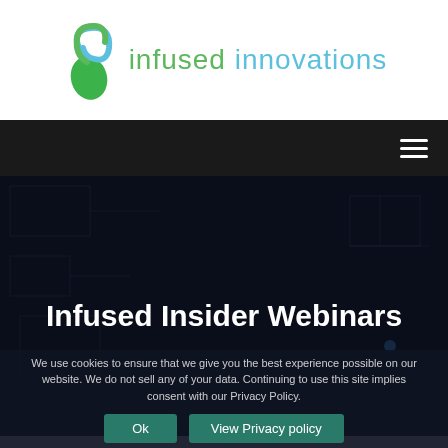[Figure (logo): Infused Innovations logo with green/blue swirl icon and text 'infused innovations' in green and blue]
[Figure (screenshot): Dark navigation bar with hamburger menu icon on the right]
Infused Insider Webinars
We use cookies to ensure that we give you the best experience possible on our website. We do not sell any of your data. Continuing to use this site implies consent with our Privacy Policy.
Ok  View Privacy policy